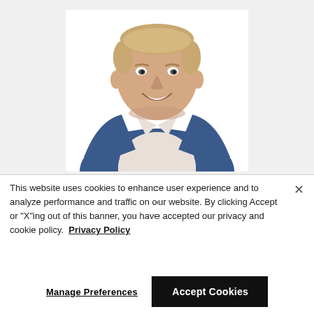[Figure (photo): Headshot of a middle-aged man with short blonde hair wearing a blue blazer over a white shirt, smiling, on a white background]
This website uses cookies to enhance user experience and to analyze performance and traffic on our website. By clicking Accept or "X"ing out of this banner, you have accepted our privacy and cookie policy.  Privacy Policy
Manage Preferences
Accept Cookies